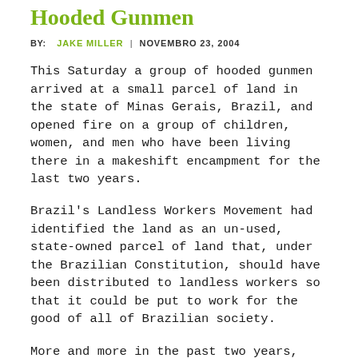Hooded Gunmen
BY: JAKE MILLER | NOVEMBRO 23, 2004
This Saturday a group of hooded gunmen arrived at a small parcel of land in the state of Minas Gerais, Brazil, and opened fire on a group of children, women, and men who have been living there in a makeshift encampment for the last two years.
Brazil's Landless Workers Movement had identified the land as an un-used, state-owned parcel of land that, under the Brazilian Constitution, should have been distributed to landless workers so that it could be put to work for the good of all of Brazilian society.
More and more in the past two years, even under the worker-friendly goverment of President Luiz Ignacio "Lula" da Silva